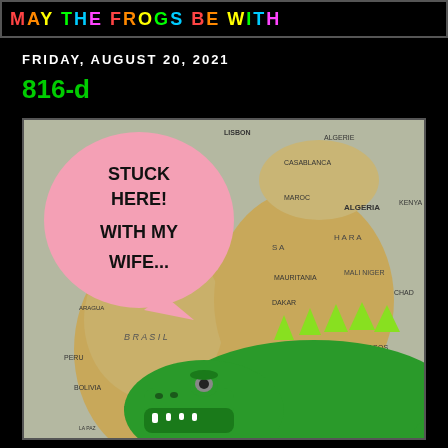MAY THE FROGS BE WITH
FRIDAY, AUGUST 20, 2021
816-d
[Figure (illustration): A cartoon crocodile/alligator on a world map background with a pink speech bubble saying 'STUCK HERE! WITH MY WIFE...']